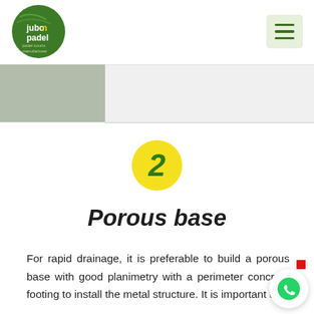[Figure (logo): Jubon Padel logo - green circle with white text jubon padel and subtitle padel courts manufacturer]
[Figure (other): Hamburger menu icon on light green background]
[Figure (photo): Gray textured surface photo on the left portion of the page]
[Figure (infographic): Yellow circle with green italic number 2 indicating step 2]
Porous base
For rapid drainage, it is preferable to build a porous base with good planimetry with a perimeter concrete footing to install the metal structure. It is important to